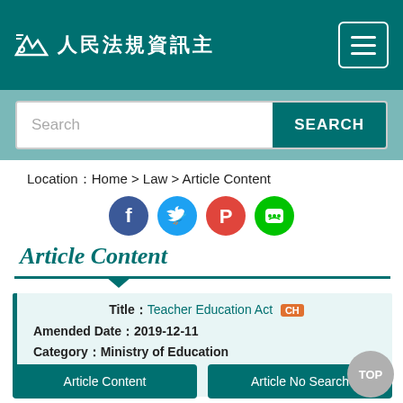[Figure (screenshot): Website header bar with logo (stylized icon and Chinese text) and hamburger menu button on teal background]
[Figure (screenshot): Search bar with placeholder text 'Search' and teal SEARCH button on lighter teal background]
Location：Home > Law > Article Content
[Figure (infographic): Social media share icons: Facebook (blue), Twitter (blue), Pinterest (red), LINE (green)]
Article Content
Title：Teacher Education Act CH
Amended Date：2019-12-11
Category：Ministry of Education
Article Content | Article No Search